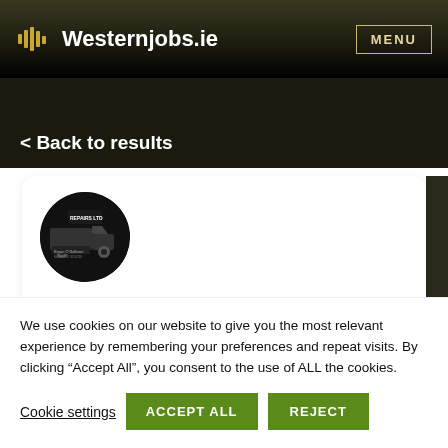Westernjobs.ie — MENU
< Back to results
[Figure (logo): Circular company logo for a repairs/truck company (Bryan O'Sullivan Repairs Ltd), dark background with truck imagery]
Mechanic
We use cookies on our website to give you the most relevant experience by remembering your preferences and repeat visits. By clicking “Accept All”, you consent to the use of ALL the cookies.
Cookie settings   ACCEPT ALL   REJECT